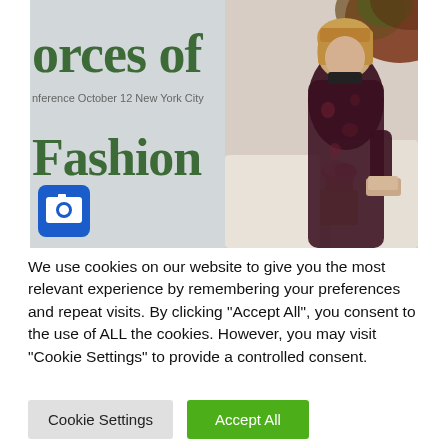[Figure (photo): Photo of a woman in a dark floral dress at a fashion conference event. A sign in the background reads 'orces of Fashion' with 'Conference  October 12  New York City' below. A blue camera icon is overlaid in the bottom-left corner of the image.]
We use cookies on our website to give you the most relevant experience by remembering your preferences and repeat visits. By clicking "Accept All", you consent to the use of ALL the cookies. However, you may visit "Cookie Settings" to provide a controlled consent.
Cookie Settings
Accept All